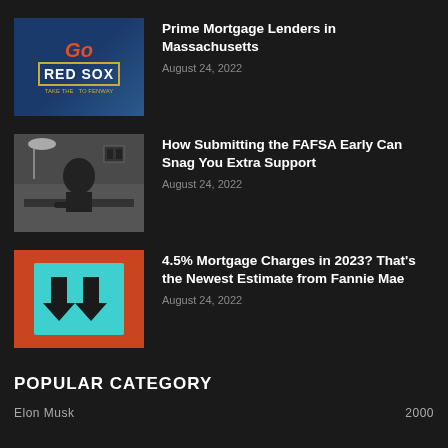[Figure (photo): Red Sox stadium sign thumbnail]
Prime Mortgage Lenders in Massachusetts
August 24, 2022
[Figure (photo): Black and white photo of person at a desk]
How Submitting the FAFSA Early Can Snag You Extra Support
August 24, 2022
[Figure (photo): Down arrow sign on teal/turquoise background with orange border]
4.5% Mortgage Charges in 2023? That's the Newest Estimate from Fannie Mae
August 24, 2022
POPULAR CATEGORY
Elon Musk    2000